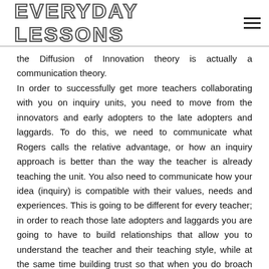EVERYDAY LESSONS
the Diffusion of Innovation theory is actually a communication theory. In order to successfully get more teachers collaborating with you on inquiry units, you need to move from the innovators and early adopters to the late adopters and laggards. To do this, we need to communicate what Rogers calls the relative advantage, or how an inquiry approach is better than the way the teacher is already teaching the unit. You also need to communicate how your idea (inquiry) is compatible with their values, needs and experiences. This is going to be different for every teacher; in order to reach those late adopters and laggards you are going to have to build relationships that allow you to understand the teacher and their teaching style, while at the same time building trust so that when you do broach the idea, they are willing to step out of their